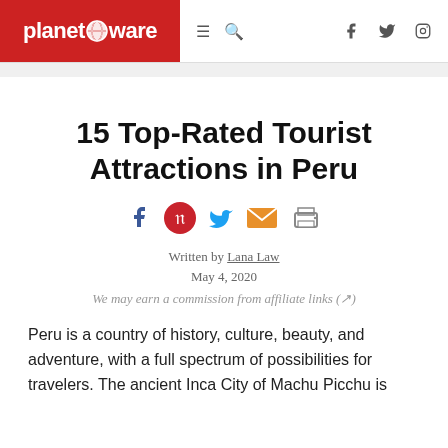planetware
15 Top-Rated Tourist Attractions in Peru
[Figure (other): Social share icons: Facebook, Pinterest, Twitter, Email, Print]
Written by Lana Law
May 4, 2020
We may earn a commission from affiliate links (↗)
Peru is a country of history, culture, beauty, and adventure, with a full spectrum of possibilities for travelers. The ancient Inca City of Machu Picchu is